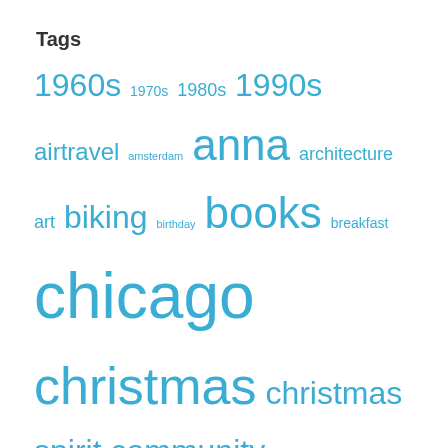Tags
1960s 1970s 1980s 1990s airtravel amsterdam anna architecture art biking birthday books breakfast chicago christmas christmas spirit community conference cso cyprus desserts education environment escort family finland fitness food forest preserve friends health healthcare helsinki hettie history holland homeless household igor kira lake michigan move movies museum music nadia nature ods pandemic parenting personal politics postgres